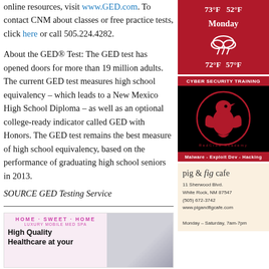online resources, visit www.GED.com. To contact CNM about classes or free practice tests, click here or call 505.224.4282.
About the GED® Test: The GED test has opened doors for more than 19 million adults. The current GED test measures high school equivalency – which leads to a New Mexico High School Diploma – as well as an optional college-ready indicator called GED with Honors. The GED test remains the best measure of high school equivalency, based on the performance of graduating high school seniors in 2013.
SOURCE GED Testing Service
[Figure (infographic): Weather widget showing Monday forecast with 73°F / 52°F at top and 72°F / 57°F below a rain cloud icon, on a red background]
[Figure (illustration): Cyber Security Training advertisement with RedCrow Academy logo (red bird on black circle), black background, red header and footer with text 'Malware - Exploit Dev - Hacking']
[Figure (illustration): Pig & Fig Cafe advertisement with address: 11 Sherwood Blvd, White Rock, NM 87547, (505) 672-3742, www.pigandfigcafe.com, Monday–Saturday 7am-7pm]
[Figure (illustration): Home Sweet Home Luxury Mobile Med Spa advertisement showing white van with text 'High Quality Healthcare at your']